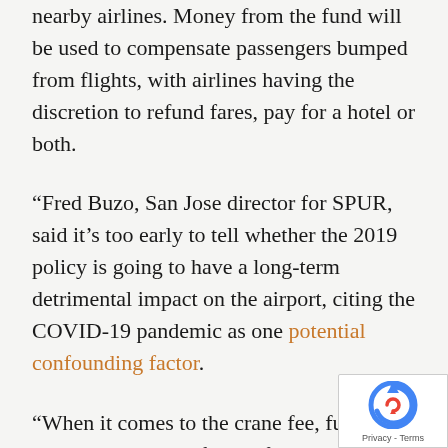nearby airlines. Money from the fund will be used to compensate passengers bumped from flights, with airlines having the discretion to refund fares, pay for a hotel or both.
“Fred Buzo, San Jose director for SPUR, said it’s too early to tell whether the 2019 policy is going to have a long-term detrimental impact on the airport, citing the COVID-19 pandemic as one potential confounding factor.
“When it comes to the crane fee, funds won’t be collected for the first six months of use. If cranes are still up after this period, developers must pay tens of thousands of dollars, although fees may be reduced if they’re working on multiple projects. [Scott Knies, executive